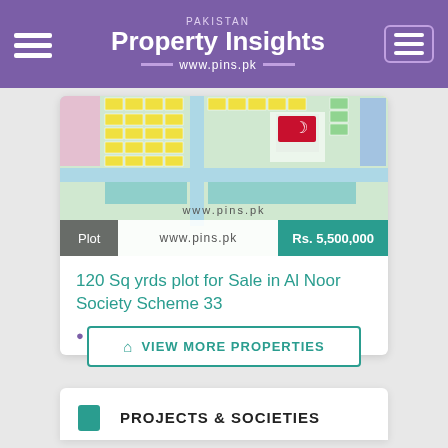PAKISTAN Property Insights www.pins.pk
[Figure (map): Property map/layout plan showing plot grid for Al Noor Society Scheme 33 with colored sections. Shows www.pins.pk watermark. Bottom bar: Plot | www.pins.pk | Rs. 5,500,000]
120 Sq yrds plot for Sale in Al Noor Society Scheme 33
SCHEME 33 | KARACHI
VIEW MORE PROPERTIES
PROJECTS & SOCIETIES